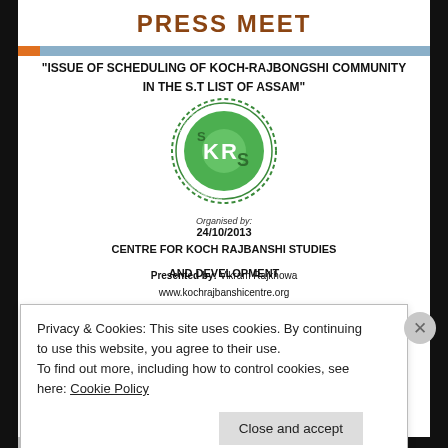PRESS MEET
"ISSUE OF SCHEDULING OF KOCH-RAJBONGSHI COMMUNITY IN THE S.T LIST OF ASSAM"
[Figure (logo): KRSS (Centre for Koch Rajbanshi Studies) circular green logo with KR letters]
Organised by:
24/10/2013
CENTRE FOR KOCH RAJBANSHI STUDIES AND DEVELOPMENT
Presented by: Vikram Rajkhowa
www.kochrajbanshicentre.org
Privacy & Cookies: This site uses cookies. By continuing to use this website, you agree to their use.
To find out more, including how to control cookies, see here: Cookie Policy
Close and accept